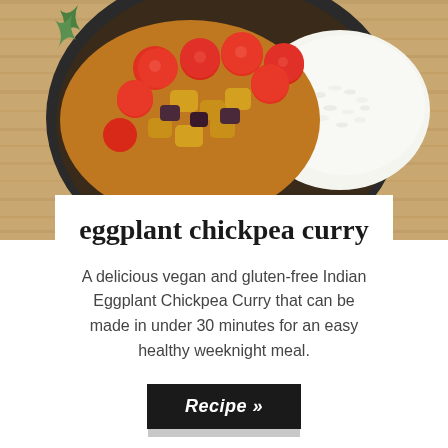[Figure (photo): Overhead view of a bowl with eggplant chickpea curry with cherry tomatoes and white rice on a wooden surface]
eggplant chickpea curry
A delicious vegan and gluten-free Indian Eggplant Chickpea Curry that can be made in under 30 minutes for an easy healthy weeknight meal.
Recipe »